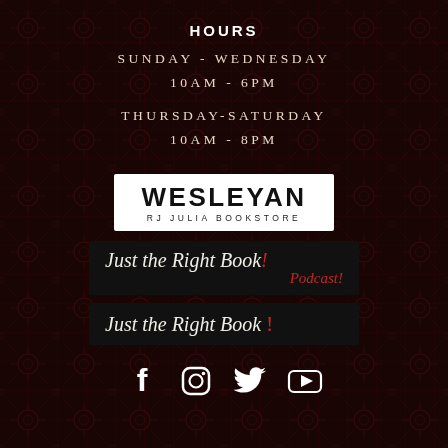HOURS
SUNDAY - WEDNESDAY
10AM - 6PM
THURSDAY-SATURDAY
10AM - 8PM
[Figure (logo): Wesleyan RJ Julia Bookstore logo — white rectangle with bold black text 'WESLEYAN' and subtitle 'RJ JULIA BOOKSTORE']
[Figure (logo): Just the Right Book Podcast logo on black background — italic serif text 'Just the Right Book!' with 'Podcast!' in red]
[Figure (logo): Just the Right Book logo on black background — italic serif text 'Just the Right Book' with red exclamation mark]
[Figure (infographic): Social media icons: Facebook, Instagram, Twitter, YouTube — white icons on dark background]